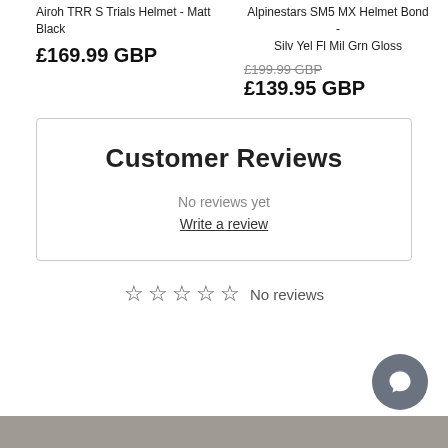Airoh TRR S Trials Helmet - Matt Black
£169.99 GBP
Alpinestars SM5 MX Helmet Bond - Silv Yel Fl Mil Grn Gloss
£199.99 GBP  £139.95 GBP
Customer Reviews
No reviews yet
Write a review
☆ ☆ ☆ ☆ ☆ No reviews